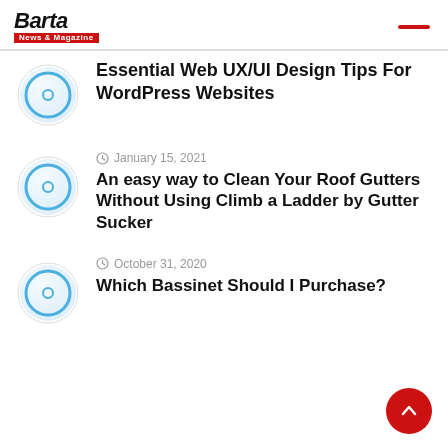Barta News & Magazine
Essential Web UX/UI Design Tips For WordPress Websites
January 15, 2021
An easy way to Clean Your Roof Gutters Without Using Climb a Ladder by Gutter Sucker
October 31, 2020
Which Bassinet Should I Purchase?